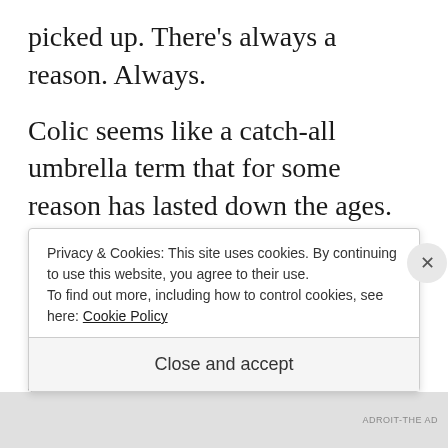picked up. There's always a reason. Always.
Colic seems like a catch-all umbrella term that for some reason has lasted down the ages. What bothers me about it is that it's a simple label that people will paste on their child, but there's something else going on there. The kid needs something or is hurting or just feels bummed out. How would you
Privacy & Cookies: This site uses cookies. By continuing to use this website, you agree to their use.
To find out more, including how to control cookies, see here: Cookie Policy
Close and accept